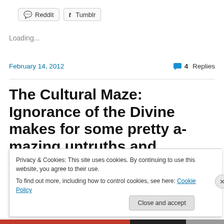[Figure (other): Reddit and Tumblr social share buttons]
Loading...
February 14, 2012    💬 4 Replies
The Cultural Maze: Ignorance of the Divine makes for some pretty a-mazing untruths and
Privacy & Cookies: This site uses cookies. By continuing to use this website, you agree to their use. To find out more, including how to control cookies, see here: Cookie Policy
Close and accept